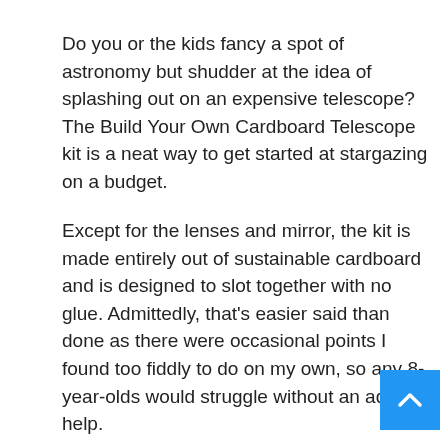Do you or the kids fancy a spot of astronomy but shudder at the idea of splashing out on an expensive telescope? The Build Your Own Cardboard Telescope kit is a neat way to get started at stargazing on a budget.
Except for the lenses and mirror, the kit is made entirely out of sustainable cardboard and is designed to slot together with no glue. Admittedly, that's easier said than done as there were occasional points I found too fiddly to do on my own, so any 8-year-olds would struggle without an adult's help.
However, once everything was slotted into pla (with the help of a little sticky tape due to my lack-